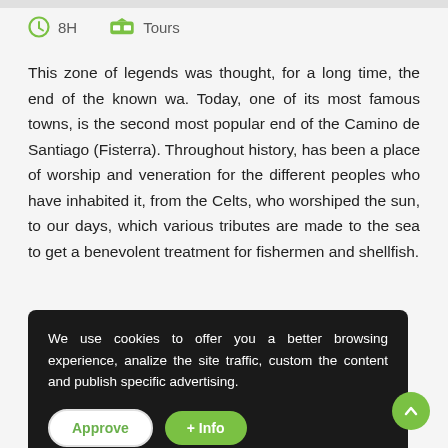8H   Tours
This zone of legends was thought, for a long time, the end of the known wa. Today, one of its most famous towns, is the second most popular end of the Camino de Santiago (Fisterra). Throughout history, has been a place of worship and veneration for the different peoples who have inhabited it, from the Celts, who worshiped the sun, to our days, which various tributes are made to the sea to get a benevolent treatment for fishermen and shellfish.
T ...dation since in c ...known for the p ...re. Almost half d ...Galicia have t ...been avoided
[Figure (screenshot): Cookie consent overlay with dark background. Text reads: 'We use cookies to offer you a better browsing experience, analize the site traffic, custom the content and publish specific advertising.' Two buttons: 'Approve' (white/outlined) and '+ Info' (green).]
thanks to the bravery of its waters.